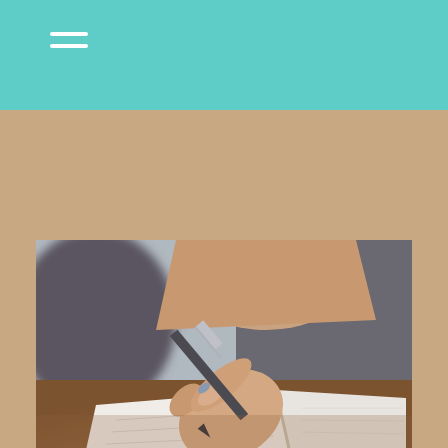Navigation header with hamburger menu icon
[Figure (photo): Close-up photo of a person's hand holding a pen and writing in an open notebook on a wooden desk, with colorful sticky notes (pink, green, orange) blurred in the foreground and background]